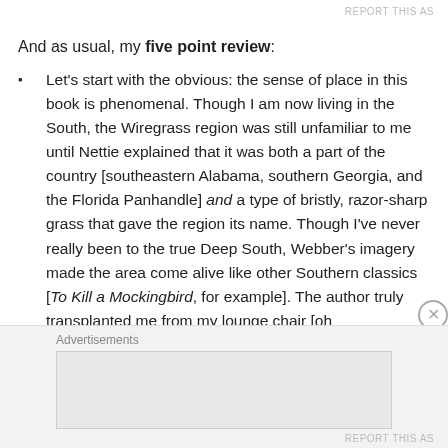REPORT THIS AS
And as usual, my five point review:
Let's start with the obvious: the sense of place in this book is phenomenal. Though I am now living in the South, the Wiregrass region was still unfamiliar to me until Nettie explained that it was both a part of the country [southeastern Alabama, southern Georgia, and the Florida Panhandle] and a type of bristly, razor-sharp grass that gave the region its name. Though I've never really been to the true Deep South, Webber's imagery made the area come alive like other Southern classics [To Kill a Mockingbird, for example]. The author truly transplanted me from my lounge chair [oh
Advertisements
REPORT THIS AS